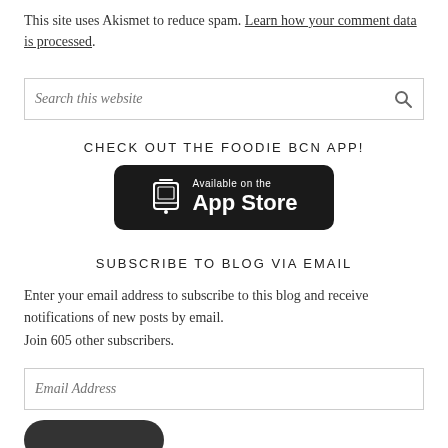This site uses Akismet to reduce spam. Learn how your comment data is processed.
[Figure (other): Search this website input box with search icon]
CHECK OUT THE FOODIE BCN APP!
[Figure (other): Available on the App Store button with phone icon on black rounded rectangle background]
SUBSCRIBE TO BLOG VIA EMAIL
Enter your email address to subscribe to this blog and receive notifications of new posts by email.
Join 605 other subscribers.
[Figure (other): Email Address input field with border]
[Figure (other): Dark rounded subscribe button (partially visible)]